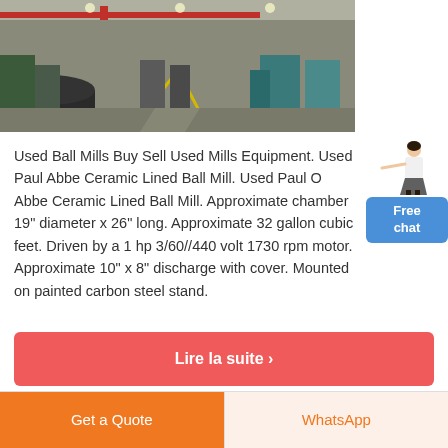[Figure (photo): Interior of a large industrial factory/warehouse with machinery, equipment, and yellow lines on the floor. Various heavy industrial equipment and overhead cranes visible.]
[Figure (illustration): Small illustration of a woman in white top pointing, used as a chat assistant avatar next to a blue 'Free chat' button.]
Used Ball Mills Buy Sell Used Mills Equipment. Used Paul Abbe Ceramic Lined Ball Mill. Used Paul O Abbe Ceramic Lined Ball Mill. Approximate chamber 19" diameter x 26" long. Approximate 32 gallon cubic feet. Driven by a 1 hp 3/60//440 volt 1730 rpm motor. Approximate 10" x 8" discharge with cover. Mounted on painted carbon steel stand.
Lire la suite ›
Get a Quote
WhatsApp